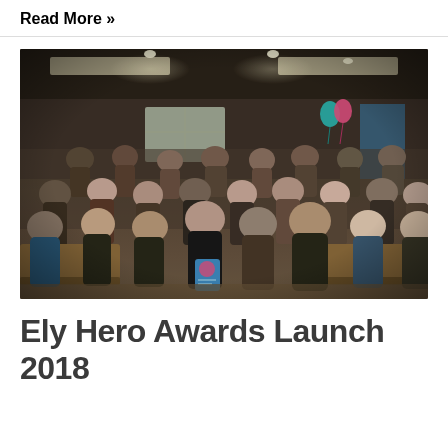Read More »
[Figure (photo): A large group of people gathered indoors at what appears to be an event venue. They are posing for a group photo, some seated at tables. A person in the front center is holding a blue award certificate or booklet. The room has warm lighting with ceiling spotlights.]
Ely Hero Awards Launch 2018